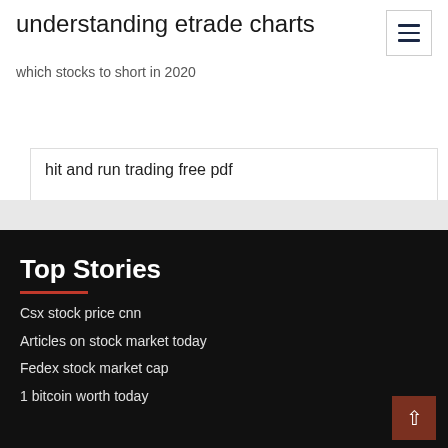understanding etrade charts
which stocks to short in 2020
hit and run trading free pdf
Top Stories
Csx stock price cnn
Articles on stock market today
Fedex stock market cap
1 bitcoin worth today